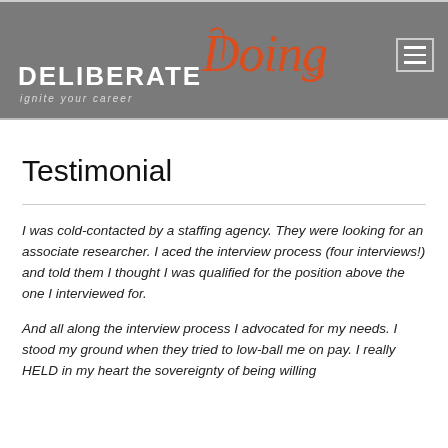[Figure (logo): Deliberate Doing logo with orange script 'Doing' and tagline 'ignite your career' on grey header background with hamburger menu icon]
Testimonial
I was cold-contacted by a staffing agency. They were looking for an associate researcher. I aced the interview process (four interviews!) and told them I thought I was qualified for the position above the one I interviewed for.
And all along the interview process I advocated for my needs. I stood my ground when they tried to low-ball me on pay. I really HELD in my heart the sovereignty of being willing